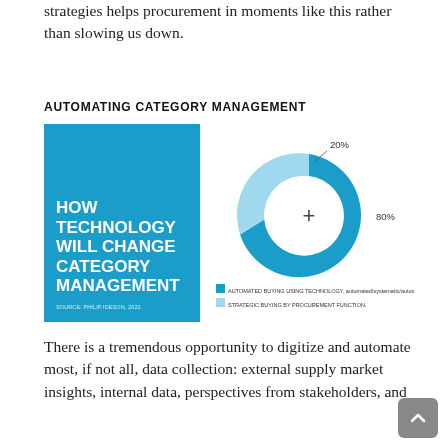strategies helps procurement in moments like this rather than slowing us down.
AUTOMATING CATEGORY MANAGEMENT
[Figure (illustration): Book cover with teal background and white bold text reading 'HOW TECHNOLOGY WILL CHANGE CATEGORY MANAGEMENT'. Source: Philip Ideson, 2022.]
[Figure (donut-chart): ]
There is a tremendous opportunity to digitize and automate most, if not all, data collection: external supply market insights, internal data, perspectives from stakeholders, and